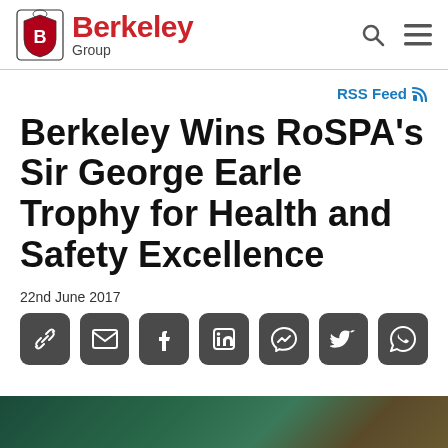Berkeley Group
RSS Feed
Berkeley Wins RoSPA's Sir George Earle Trophy for Health and Safety Excellence
22nd June 2017
[Figure (other): Social sharing buttons row: link/copy, email, Facebook, LinkedIn, Messenger, Twitter, WhatsApp]
[Figure (photo): Bottom partial photo strip showing dark green/teal background, likely an outdoor event or building image]